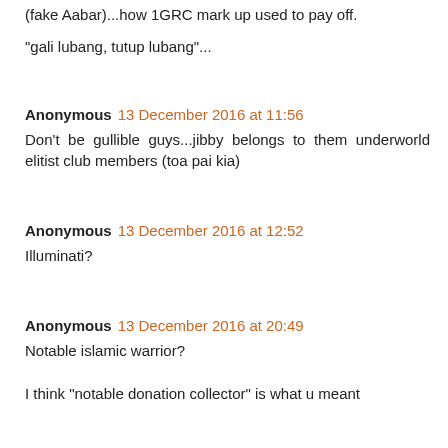(fake Aabar)...how 1GRC mark up used to pay off.
"gali lubang, tutup lubang"...
Anonymous 13 December 2016 at 11:56
Don't be gullible guys...jibby belongs to them underworld elitist club members (toa pai kia)
Anonymous 13 December 2016 at 12:52
Illuminati?
Anonymous 13 December 2016 at 20:49
Notable islamic warrior?

I think "notable donation collector" is what u meant